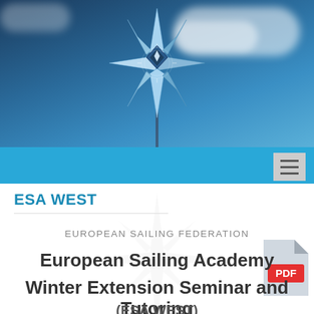[Figure (illustration): Hero banner with dark blue sky, clouds, and a compass rose logo (star-shaped, light blue and white) centered above a mast silhouette]
ESA WEST
EUROPEAN SAILING FEDERATION
European Sailing Academy Winter Extension Seminar and Tutoring
(ESA WEST)